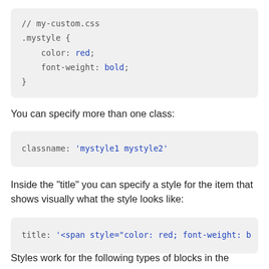[Figure (screenshot): Code block showing CSS file my-custom.css with .mystyle class defining color: red and font-weight: bold]
You can specify more than one class:
[Figure (screenshot): Code block showing classname: 'mystyle1 mystyle2']
Inside the "title" you can specify a style for the item that shows visually what the style looks like:
[Figure (screenshot): Code block showing title: '<span style="color: red; font-weight: b]
Styles work for the following types of blocks in the